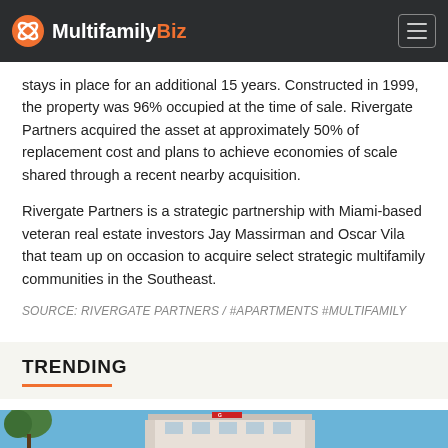MultifamilyBiz
stays in place for an additional 15 years. Constructed in 1999, the property was 96% occupied at the time of sale. Rivergate Partners acquired the asset at approximately 50% of replacement cost and plans to achieve economies of scale shared through a recent nearby acquisition.
Rivergate Partners is a strategic partnership with Miami-based veteran real estate investors Jay Massirman and Oscar Vila that team up on occasion to acquire select strategic multifamily communities in the Southeast.
SOURCE: RIVERGATE PARTNERS / #APARTMENTS #MULTIFAMILY
TRENDING
[Figure (photo): Exterior photo of a building against a blue sky with trees visible on the left side]